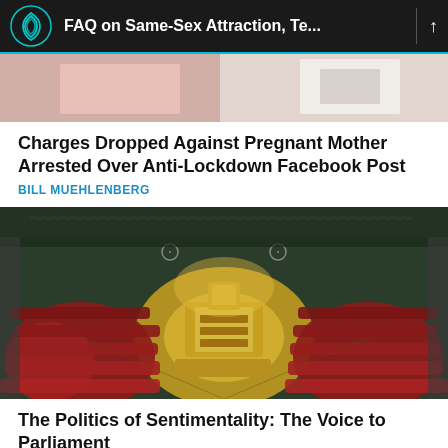FAQ on Same-Sex Attraction, Te...
[Figure (photo): Partially visible photo of people, cropped at top of page]
Charges Dropped Against Pregnant Mother Arrested Over Anti-Lockdown Facebook Post
BILL MUEHLENBERG
[Figure (photo): Photo of Australian Parliament House chamber interior with red seats and golden central area, tinted with red/yellow gradient]
The Politics of Sentimentality: The Voice to Parliament
LINCOLN BROWN
[Figure (photo): Partially visible dark image at bottom of page]